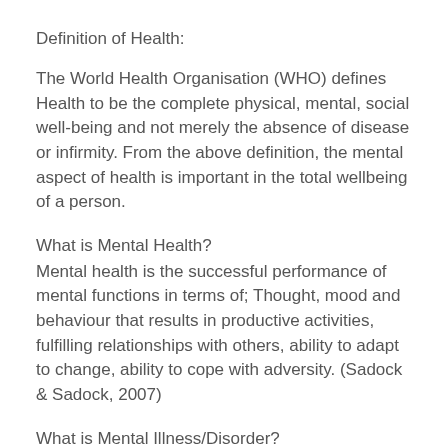Definition of Health:
The World Health Organisation (WHO) defines Health to be the complete physical, mental, social well-being and not merely the absence of disease or infirmity. From the above definition, the mental aspect of health is important in the total wellbeing of a person.
What is Mental Health?
Mental health is the successful performance of mental functions in terms of; Thought, mood and behaviour that results in productive activities, fulfilling relationships with others, ability to adapt to change, ability to cope with adversity. (Sadock & Sadock, 2007)
What is Mental Illness/Disorder?
Mental Illness/Disorder could be defined as: